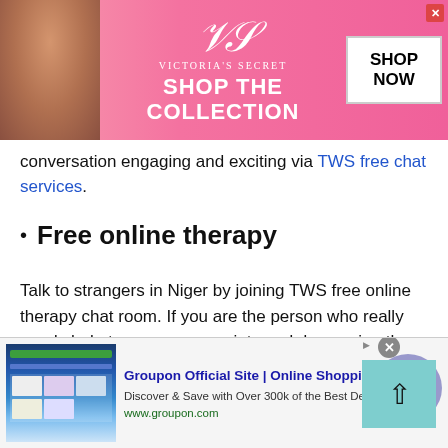[Figure (screenshot): Victoria's Secret advertisement banner with model, logo, 'SHOP THE COLLECTION' text, and 'SHOP NOW' button on pink background]
conversation engaging and exciting via TWS free chat services.
Free online therapy
Talk to strangers in Niger by joining TWS free online therapy chat room. If you are the person who really needs help to overcome anxiety and depression then TWS free online therapy chat would definitely be the right choice.
[Figure (screenshot): Groupon Official Site advertisement banner with website screenshot thumbnail, title 'Groupon Official Site | Online Shopping Deals', description 'Discover & Save with Over 300k of the Best Deals', URL 'www.groupon.com', close button, and navigation arrow button]